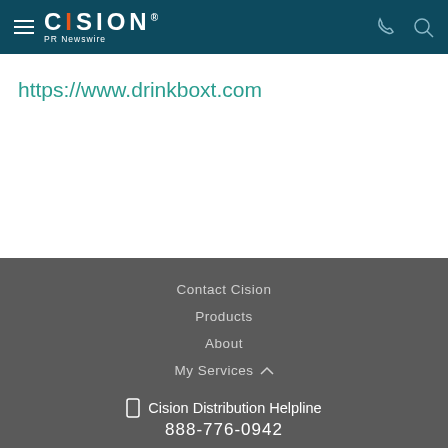CISION PR Newswire
https://www.drinkboxt.com
Contact Cision
Products
About
My Services
Cision Distribution Helpline
888-776-0942
Terms of Use | Privacy Policy | Information Security Policy | Site Map | RSS | Cookie Settings
Copyright © 2022 Cision US Inc.